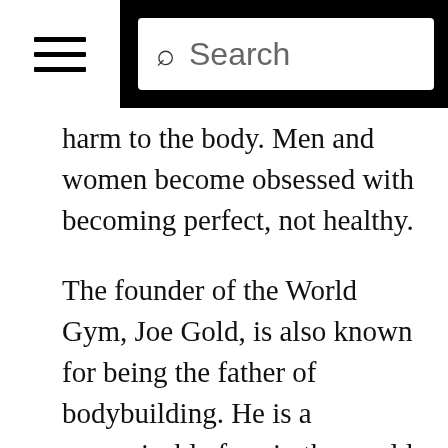≡  Search
harm to the body. Men and women become obsessed with becoming perfect, not healthy.
The founder of the World Gym, Joe Gold, is also known for being the father of bodybuilding. He is a recognizable face in the world of working out. From the day an average World Gym-goer starts working out his/her eyes start wondering around the gym looking for entertainment or motivation. Eventually, his/her eyes land on the image of Joe Gold, who is a very muscular man. He/she slowly starts pushing harder and harder without coming close to looking like Joe Gold. The goal of becoming a healthier and stronger version of self turns into an obsession for obtaining a perfectly sculpted body. However, some